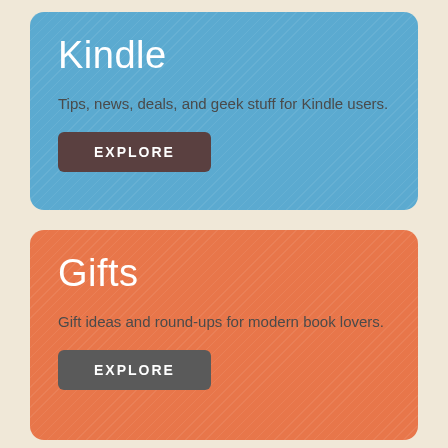Kindle
Tips, news, deals, and geek stuff for Kindle users.
EXPLORE
Gifts
Gift ideas and round-ups for modern book lovers.
EXPLORE